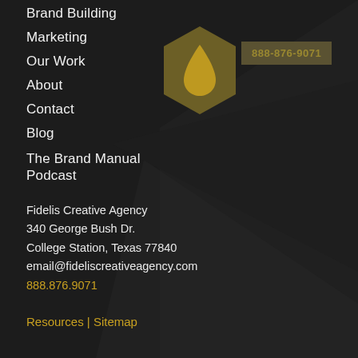[Figure (logo): Dark hexagon with a flame/drop shape in olive/gold color — Fidelis Creative Agency logo]
888-876-9071
Brand Building
Marketing
Our Work
About
Contact
Blog
The Brand Manual Podcast
Fidelis Creative Agency
340 George Bush Dr.
College Station, Texas 77840
email@fideliscreativeagency.com
888.876.9071
Resources | Sitemap